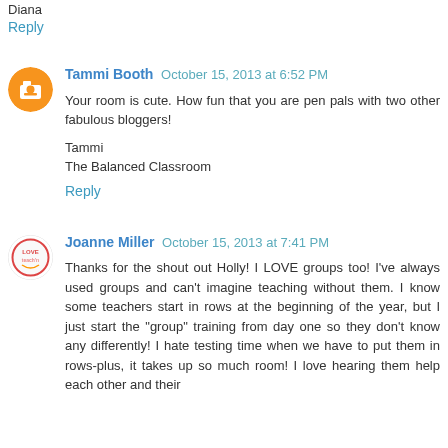Diana
Reply
Tammi Booth  October 15, 2013 at 6:52 PM
Your room is cute. How fun that you are pen pals with two other fabulous bloggers!

Tammi
The Balanced Classroom
Reply
Joanne Miller  October 15, 2013 at 7:41 PM
Thanks for the shout out Holly! I LOVE groups too! I've always used groups and can't imagine teaching without them. I know some teachers start in rows at the beginning of the year, but I just start the "group" training from day one so they don't know any differently! I hate testing time when we have to put them in rows-plus, it takes up so much room! I love hearing them help each other and their